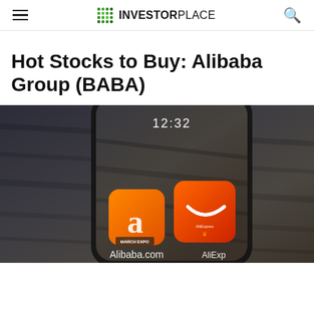INVESTORPLACE
Hot Stocks to Buy: Alibaba Group (BABA)
[Figure (photo): Close-up photo of a smartphone displaying Alibaba.com and AliExpress app icons at 12:32, with a wooden surface background. The phone shows the Alibaba orange logo with stylized 'a', and the AliExpress orange icon. Text 'Alibaba.com' and 'MARCH EXPO' visible on screen.]